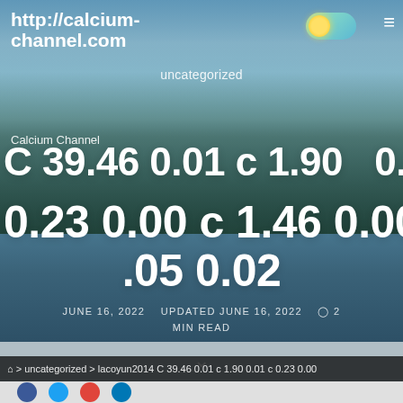http://calcium-channel.com
uncategorized
Calcium Channel
C 39.46 0.01 c 1.90 0.01 c 0.23 0.00 c 1.46 0.00 b 43 .05 0.02
JUNE 16, 2022   UPDATED JUNE 16, 2022   2 MIN READ
⌂ > uncategorized > lacoyun2014 C 39.46 0.01 c 1.90 0.01 c 0.23 0.00